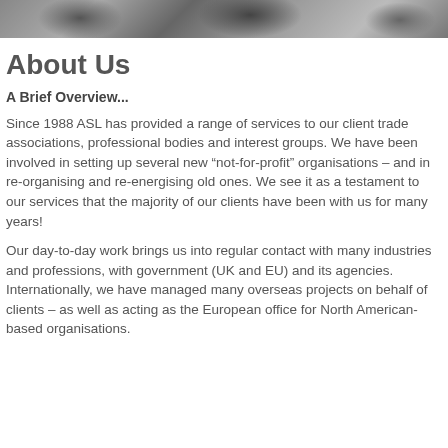[Figure (photo): Decorative header image with mechanical/gear elements in greyscale]
About Us
A Brief Overview...
Since 1988 ASL has provided a range of services to our client trade associations, professional bodies and interest groups. We have been involved in setting up several new “not-for-profit” organisations – and in re-organising and re-energising old ones. We see it as a testament to our services that the majority of our clients have been with us for many years!
Our day-to-day work brings us into regular contact with many industries and professions, with government (UK and EU) and its agencies. Internationally, we have managed many overseas projects on behalf of clients – as well as acting as the European office for North American-based organisations.